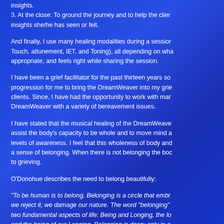insights.
3. At the close: To ground the journey and to help the client integrate the insights she/he has seen or felt.
And finally, I use many healing modalities during a session (Reiki, Healing Touch, attunement, IET, and Toning), all depending on what is needed, appropriate, and feels right while sharing the session.
I have been a grief facilitator for the past thirteen years so it was a natural progression for me to bring the DreamWeaver into my grief work with my clients. Since, I have had the opportunity to work with many clients using the DreamWeaver with a variety of bereavement issues.
I have stated that the musical healing of the DreamWeaver has the ability to assist the body's capacity to be whole and to move mind and body to higher levels of awareness. I feel that this wholeness of body and mind connects to a sense of belonging. When there is not belonging the body and mind resort to grieving.
O'Donohue describes the need to belong beautifully:
"To be human is to belong. Belonging is a circle that embraces everything; if we reject it, we damage our nature. The word "belonging" holds two fundamental aspects of life: Being and Longing, the longing of our Being and the being of our Longing. Belonging is deep; only in a superficial sense does it refer to our external attachment to people, places, and things. It is the living and passionate presence of the soul. Belonging is the heart and warmth of intimacy. True belonging comes from within. It sets the soul free between the outer forms of belonging and the inner music of the soul...